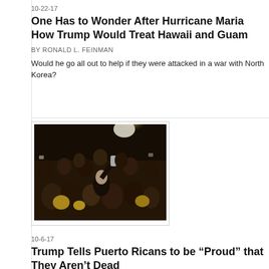10-22-17
One Has to Wonder After Hurricane Maria How Trump Would Treat Hawaii and Guam
BY RONALD L. FEINMAN
Would he go all out to help if they were attacked in a war with North Korea?
[Figure (photo): Crowd of people at an indoor event, with a person in foreground and bright light overhead]
10-6-17
Trump Tells Puerto Ricans to be “Proud” that They Aren’t Dead
BY LILLIAN GUERRA